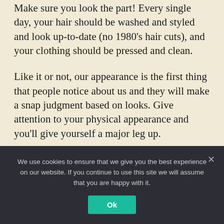Make sure you look the part! Every single day, your hair should be washed and styled and look up-to-date (no 1980's hair cuts), and your clothing should be pressed and clean.
Like it or not, our appearance is the first thing that people notice about us and they will make a snap judgment based on looks. Give attention to your physical appearance and you'll give yourself a major leg up.
Habit #4: Communicate with Clarity
Great leaders have great communication skills.
We use cookies to ensure that we give you the best experience on our website. If you continue to use this site we will assume that you are happy with it.